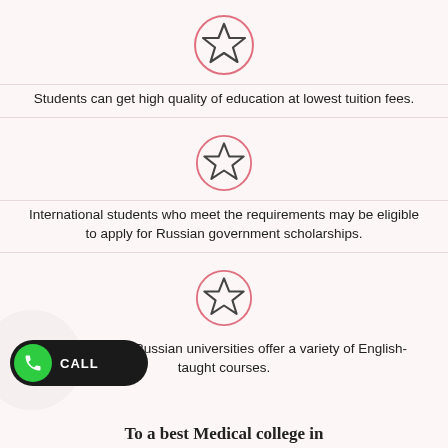[Figure (illustration): Star icon inside a pink circle outline]
Students can get high quality of education at lowest tuition fees.
[Figure (illustration): Star icon inside a pink circle outline]
International students who meet the requirements may be eligible to apply for Russian government scholarships.
[Figure (illustration): Star icon inside a pink circle outline]
The majority of Russian universities offer a variety of English-taught courses.
[Figure (illustration): Green phone call button with CALL label]
To a best Medical college in